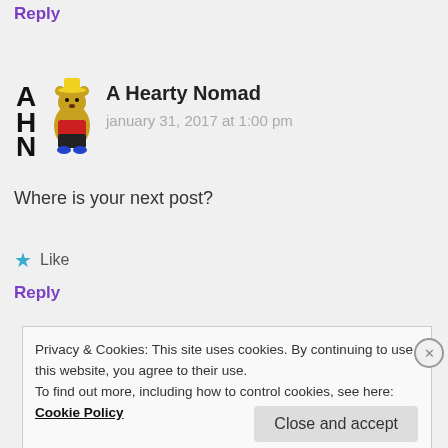Reply
[Figure (illustration): Avatar for A Hearty Nomad blog: cartoon bear character with AHN letters logo]
A Hearty Nomad
january 31, 2017 at 1:00 pm
Where is your next post?
Like
Reply
Privacy & Cookies: This site uses cookies. By continuing to use this website, you agree to their use.
To find out more, including how to control cookies, see here: Cookie Policy
Close and accept